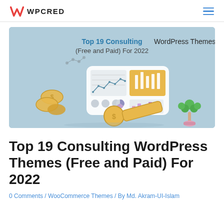WPCRED
[Figure (illustration): Hero banner image for article about Top 19 Consulting WordPress Themes (Free and Paid) For 2022. Shows a 3D illustration with financial dashboard, gold coins, and a small tree on a light blue background. Text overlay reads: 'Top 19 Consulting WordPress Themes (Free and Paid) For 2022']
Top 19 Consulting WordPress Themes (Free and Paid) For 2022
0 Comments / WooCommerce Themes / By Md. Akram-UI-Islam